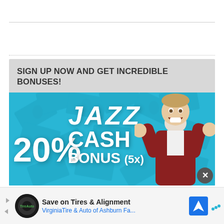[Figure (screenshot): White area at top of page with horizontal solid and dotted divider lines]
[Figure (infographic): Advertisement banner for JAZZ casino: gray header reading 'SIGN UP NOW AND GET INCREDIBLE BONUSES!' above a blue background with dollar bill patterns, JAZZ logo, man celebrating, and text '20% CASH BONUS (5x)']
SIGN UP NOW AND GET INCREDIBLE BONUSES!
[Figure (infographic): Secondary advertisement bar at bottom: Save on Tires & Alignment - VirginiaTire & Auto of Ashburn Fa...]